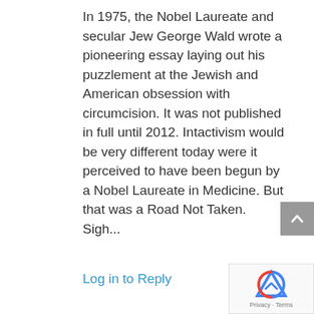In 1975, the Nobel Laureate and secular Jew George Wald wrote a pioneering essay laying out his puzzlement at the Jewish and American obsession with circumcision. It was not published in full until 2012. Intactivism would be very different today were it perceived to have been begun by a Nobel Laureate in Medicine. But that was a Road Not Taken. Sigh...
Log in to Reply